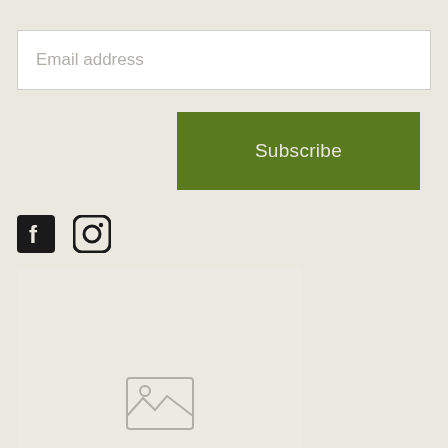Email address
Subscribe
[Figure (other): Social media icons: Facebook (f) and Instagram (circle with camera outline)]
[Figure (other): Image placeholder with broken image icon]
Search
About Us
WELCOME!
CONTACT US